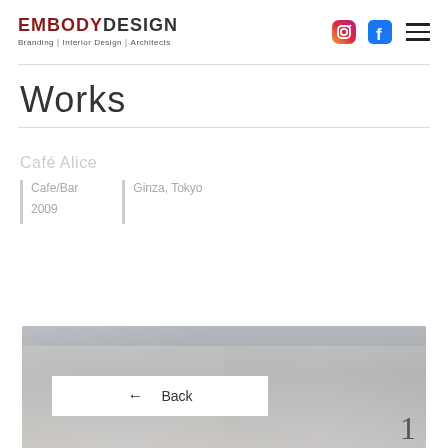EMBODY DESIGN — Branding｜Interior Design｜Architects
Works
Cafe/Bar
2009
Ginza, Tokyo
[Figure (photo): Interior photo of a restaurant/bar space with white curtains and ambient lighting, partially visible]
← Back